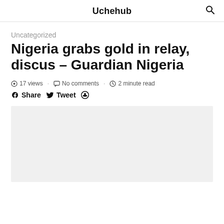Uchehub
Uncategorized
Nigeria grabs gold in relay, discus – Guardian Nigeria
17 views · No comments · 2 minute read
Share  Tweet
[Figure (photo): Light grey image placeholder rectangle]